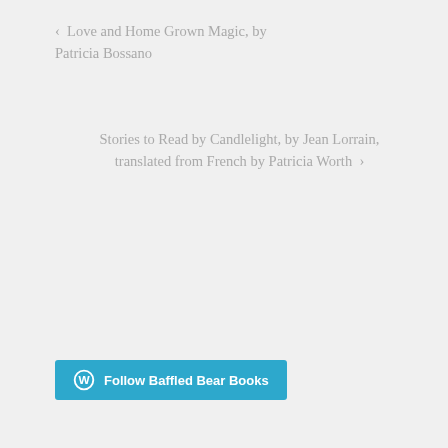‹  Love and Home Grown Magic, by Patricia Bossano
Stories to Read by Candlelight, by Jean Lorrain, translated from French by Patricia Worth  ›
[Figure (other): WordPress Follow Baffled Bear Books button in blue]
Follow by B-Mail
Follow by Email
Email Address
Follow